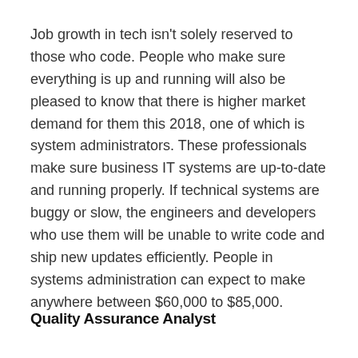Job growth in tech isn't solely reserved to those who code. People who make sure everything is up and running will also be pleased to know that there is higher market demand for them this 2018, one of which is system administrators. These professionals make sure business IT systems are up-to-date and running properly. If technical systems are buggy or slow, the engineers and developers who use them will be unable to write code and ship new updates efficiently. People in systems administration can expect to make anywhere between $60,000 to $85,000.
Quality Assurance Analyst